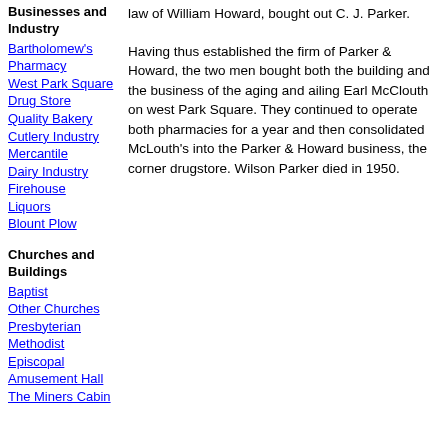Businesses and Industry
Bartholomew's Pharmacy
West Park Square Drug Store
Quality Bakery
Cutlery Industry
Mercantile
Dairy Industry
Firehouse
Liquors
Blount Plow
Churches and Buildings
Baptist
Other Churches
Presbyterian
Methodist
Episcopal
Amusement Hall
The Miners Cabin
law of William Howard, bought out C. J. Parker.
Having thus established the firm of Parker & Howard, the two men bought both the building and the business of the aging and ailing Earl McClouth on west Park Square. They continued to operate both pharmacies for a year and then consolidated McLouth's into the Parker & Howard business, the corner drugstore. Wilson Parker died in 1950.